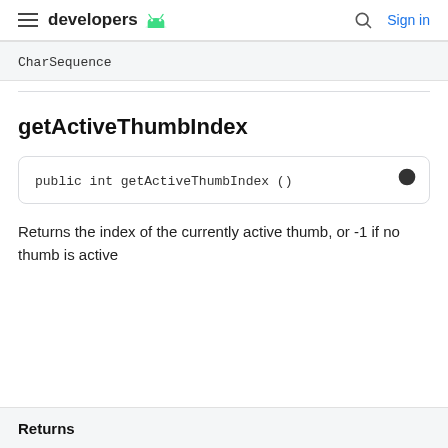≡ developers 🤖   🔍  Sign in
| CharSequence |
getActiveThumbIndex
public int getActiveThumbIndex ()
Returns the index of the currently active thumb, or -1 if no thumb is active
Returns